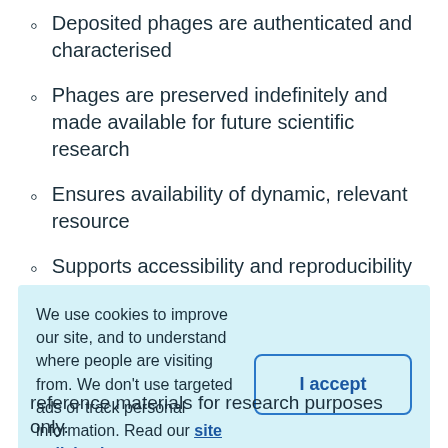Deposited phages are authenticated and characterised
Phages are preserved indefinitely and made available for future scientific research
Ensures availability of dynamic, relevant resource
Supports accessibility and reproducibility in science
We use cookies to improve our site, and to understand where people are visiting from. We don't use targeted ads or track personal information. Read our site policies here.
reference materials for research purposes only.